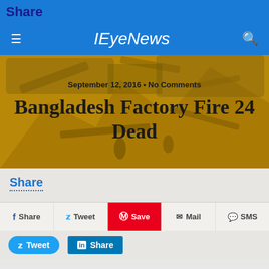Share
IEyeNews
[Figure (photo): Hero image showing factory collapse/fire debris in Bangladesh with an orange/golden color overlay. Shows structural wreckage and workers.]
September 12, 2016 • No Comments
Bangladesh Factory Fire 24 Dead
Share
Share  Tweet  Save  Mail  SMS
Tweet  Share